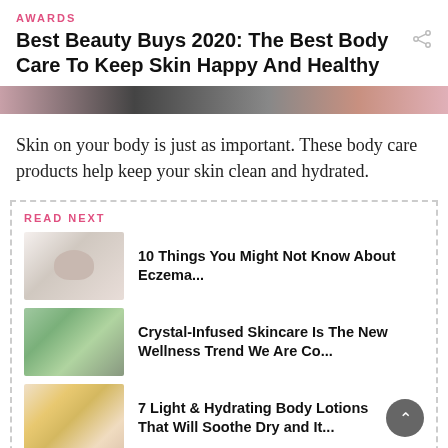AWARDS
Best Beauty Buys 2020: The Best Body Care To Keep Skin Happy And Healthy
[Figure (photo): Partial hero image showing body care products and skin]
Skin on your body is just as important. These body care products help keep your skin clean and hydrated.
READ NEXT
10 Things You Might Not Know About Eczema...
Crystal-Infused Skincare Is The New Wellness Trend We Are Co...
7 Light & Hydrating Body Lotions That Will Soothe Dry and It...